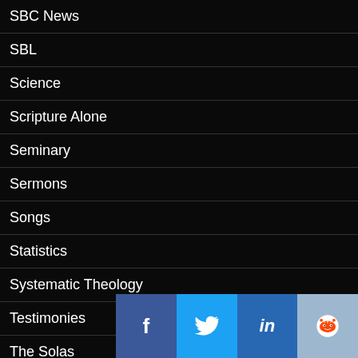SBC News
SBL
Science
Scripture Alone
Seminary
Sermons
Songs
Statistics
Systematic Theology
Testimonies
The Solas
Theology
Translations
[Figure (screenshot): Social sharing bar with Facebook, Twitter, LinkedIn, and Reddit buttons]